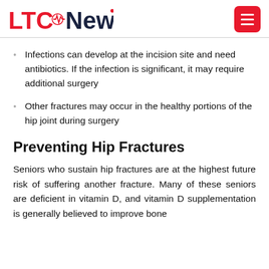LTC News
Infections can develop at the incision site and need antibiotics. If the infection is significant, it may require additional surgery
Other fractures may occur in the healthy portions of the hip joint during surgery
Preventing Hip Fractures
Seniors who sustain hip fractures are at the highest future risk of suffering another fracture. Many of these seniors are deficient in vitamin D, and vitamin D supplementation is generally believed to improve bone